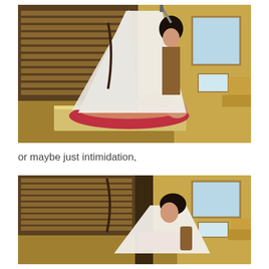[Figure (photo): A scene from what appears to be a Korean historical drama (sageuk). A woman in white hanbok holds a sword overhead while standing over a person lying on a mat/bed in a traditional room with wooden blinds and gold/tan walls.]
or maybe just intimidation,
[Figure (photo): A second scene from the same Korean historical drama. The same woman in white hanbok is leaning forward in a crouching position in the same traditional room setting with wooden blinds.]